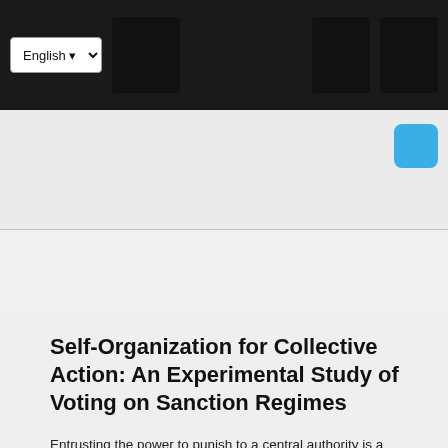[Figure (screenshot): Website navigation bar with dark background containing English language dropdown selector, navigation square buttons, and a blue rounded button]
Self-Organization for Collective Action: An Experimental Study of Voting on Sanction Regimes
Entrusting the power to punish to a central authority is a hallmark of civilization, yet informal or horizontal sanctions have attracted more attention of late. We study experimentally a collective action dilemma and test whether subjects choose a formal sanction scheme that costs less